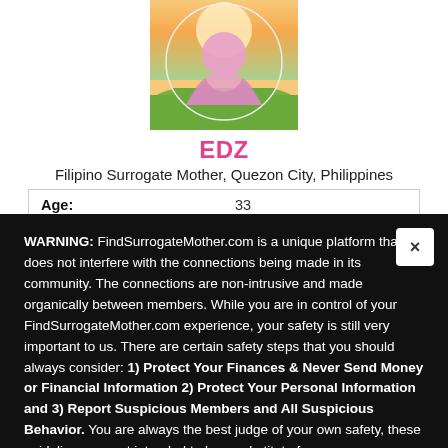[Figure (photo): Profile picture placeholder with pink silhouette of a person over a green countryside background with sunlight]
EDZ
Filipino Surrogate Mother, Quezon City, Philippines
| Age: | 33 |
| Location: | Philippines / Quezon City |
WARNING: FindSurrogateMother.com is a unique platform that does not interfere with the connections being made in its community. The connections are non-intrusive and made organically between members. While you are in control of your FindSurrogateMother.com experience, your safety is still very important to us. There are certain safety steps that you should always consider: 1) Protect Your Finances & Never Send Money or Financial Information 2) Protect Your Personal Information and 3) Report Suspicious Members and All Suspicious Behavior. You are always the best judge of your own safety, these guidelines are not intended to be a substitute for your own judgment.